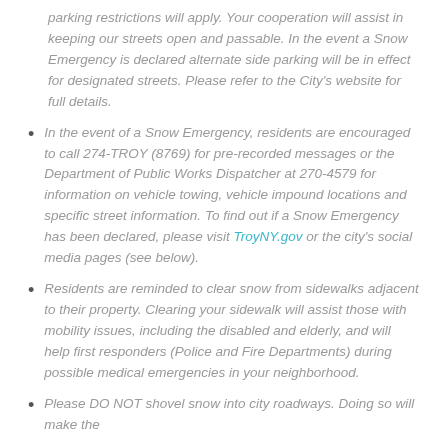parking restrictions will apply. Your cooperation will assist in keeping our streets open and passable. In the event a Snow Emergency is declared alternate side parking will be in effect for designated streets. Please refer to the City's website for full details.
In the event of a Snow Emergency, residents are encouraged to call 274-TROY (8769) for pre-recorded messages or the Department of Public Works Dispatcher at 270-4579 for information on vehicle towing, vehicle impound locations and specific street information. To find out if a Snow Emergency has been declared, please visit TroyNY.gov or the city's social media pages (see below).
Residents are reminded to clear snow from sidewalks adjacent to their property. Clearing your sidewalk will assist those with mobility issues, including the disabled and elderly, and will help first responders (Police and Fire Departments) during possible medical emergencies in your neighborhood.
Please DO NOT shovel snow into city roadways. Doing so will make the...